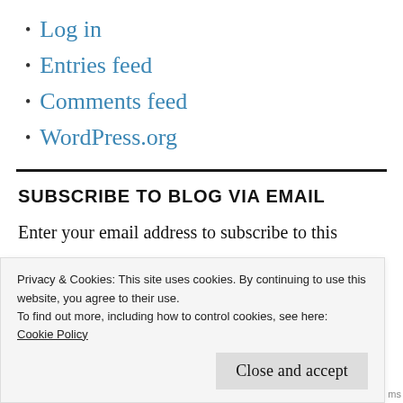Log in
Entries feed
Comments feed
WordPress.org
SUBSCRIBE TO BLOG VIA EMAIL
Enter your email address to subscribe to this
Privacy & Cookies: This site uses cookies. By continuing to use this website, you agree to their use.
To find out more, including how to control cookies, see here:
Cookie Policy
Close and accept